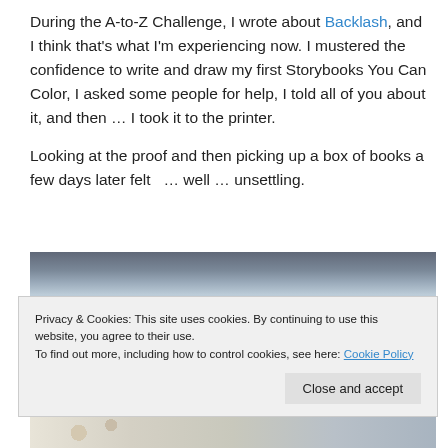During the A-to-Z Challenge, I wrote about Backlash, and I think that's what I'm experiencing now. I mustered the confidence to write and draw my first Storybooks You Can Color, I asked some people for help, I told all of you about it, and then … I took it to the printer.
Looking at the proof and then picking up a box of books a few days later felt  … well … unsettling.
[Figure (photo): Photo of a box of books with a blue marbled cover visible showing the text 'Sometimes...']
Privacy & Cookies: This site uses cookies. By continuing to use this website, you agree to their use.
To find out more, including how to control cookies, see here: Cookie Policy
[Figure (photo): Bottom portion of a photo showing what appears to be coloring book pages with flower illustrations]